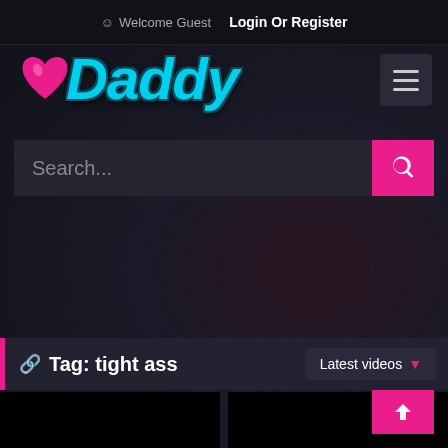Welcome Guest  Login Or Register
[Figure (logo): oDaddy logo with pink heart and cyan stylized text]
Search...
Tag: tight ass
Latest videos